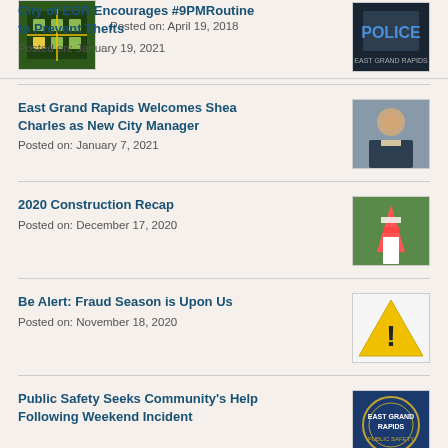Posted on: April 19, 2018
City of EGR Encourages #9PMRoutine to Prevent Thefts
Posted on: January 19, 2021
East Grand Rapids Welcomes Shea Charles as New City Manager
Posted on: January 7, 2021
2020 Construction Recap
Posted on: December 17, 2020
Be Alert: Fraud Season is Upon Us
Posted on: November 18, 2020
Public Safety Seeks Community's Help Following Weekend Incident